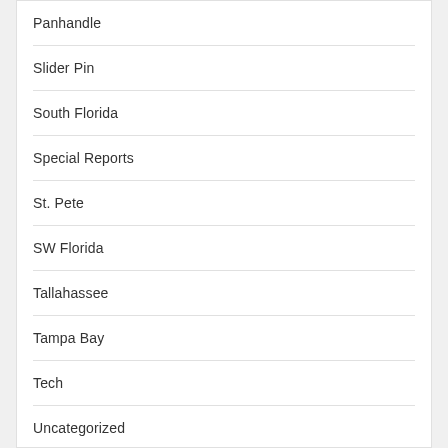Panhandle
Slider Pin
South Florida
Special Reports
St. Pete
SW Florida
Tallahassee
Tampa Bay
Tech
Uncategorized
Universities
Vaccine